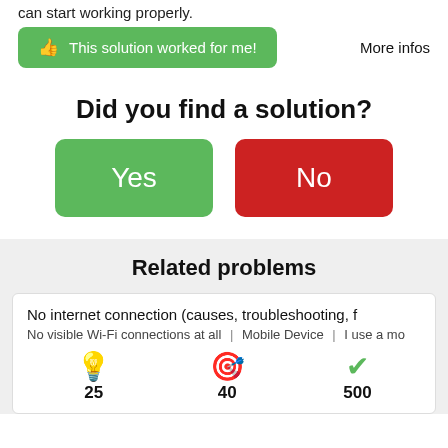can start working properly.
This solution worked for me!
More infos
Did you find a solution?
Yes
No
Related problems
No internet connection (causes, troubleshooting, f
No visible Wi-Fi connections at all | Mobile Device | I use a mo